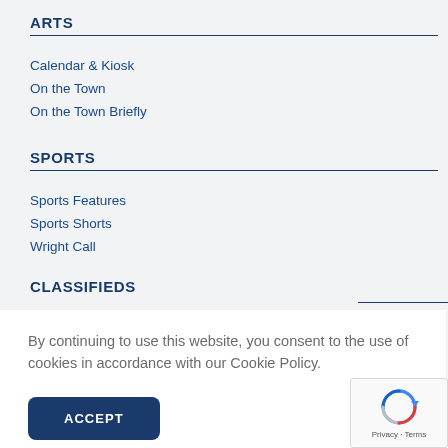ARTS
Calendar & Kiosk
On the Town
On the Town Briefly
SPORTS
Sports Features
Sports Shorts
Wright Call
CLASSIFIEDS
By continuing to use this website, you consent to the use of cookies in accordance with our Cookie Policy.
ACCEPT